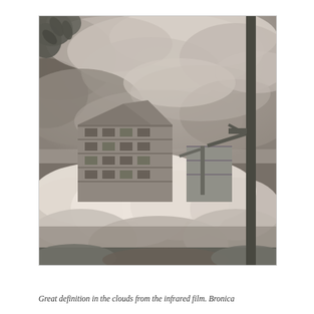[Figure (photo): Black and white infrared photograph showing a multi-storey brick apartment building partially obscured by bright white infrared foliage in the foreground. A tall metal pole/chimney stack dominates the right side of the image. Street lamps are visible in the middle ground. Dramatic cloudy sky fills the upper half of the image. Tree leaves visible in the upper left corner.]
Great definition in the clouds from the infrared film. Bronica